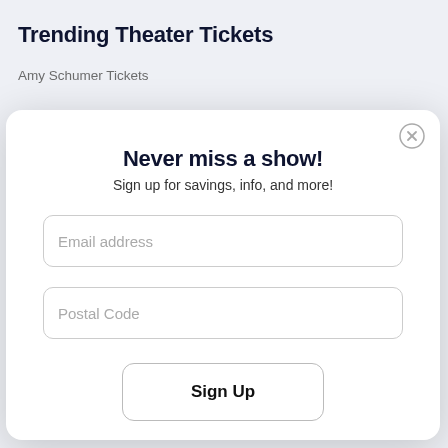Trending Theater Tickets
Amy Schumer Tickets
Never miss a show!
Sign up for savings, info, and more!
Email address
Postal Code
Sign Up